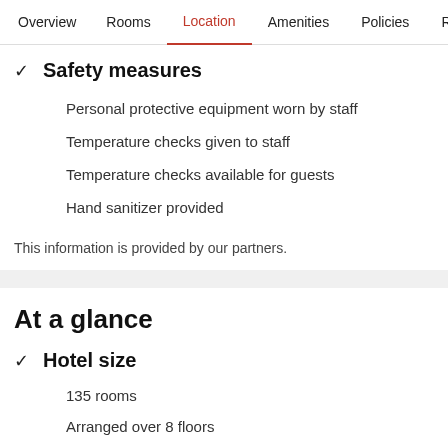Overview  Rooms  Location  Amenities  Policies  Reviews
✓ Safety measures
Personal protective equipment worn by staff
Temperature checks given to staff
Temperature checks available for guests
Hand sanitizer provided
This information is provided by our partners.
At a glance
✓ Hotel size
135 rooms
Arranged over 8 floors